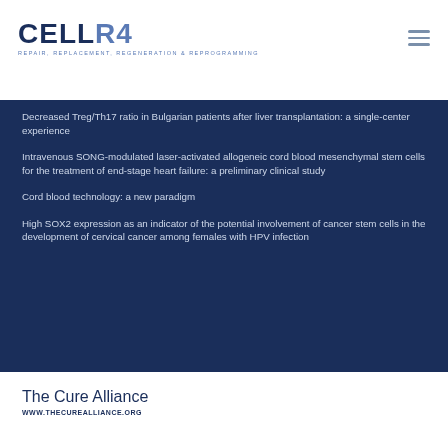CELLR4 - REPAIR, REPLACEMENT, REGENERATION & REPROGRAMMING
Decreased Treg/Th17 ratio in Bulgarian patients after liver transplantation: a single-center experience
Intravenous SONG-modulated laser-activated allogeneic cord blood mesenchymal stem cells for the treatment of end-stage heart failure: a preliminary clinical study
Cord blood technology: a new paradigm
High SOX2 expression as an indicator of the potential involvement of cancer stem cells in the development of cervical cancer among females with HPV infection
The Cure Alliance
WWW.THECUREALLIANCE.ORG